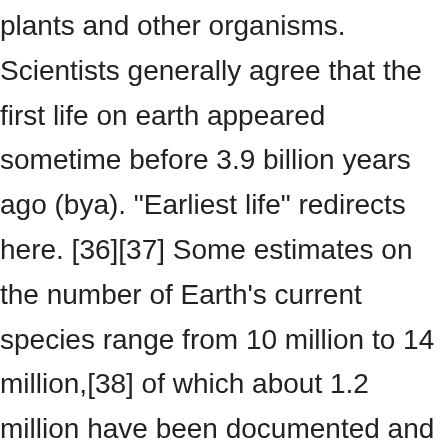plants and other organisms. Scientists generally agree that the first life on earth appeared sometime before 3.9 billion years ago (bya). "Earliest life" redirects here. [36][37] Some estimates on the number of Earth's current species range from 10 million to 14 million,[38] of which about 1.2 million have been documented and over 86 percent remain undescribed. [1][2][5][6] The earliest direct evidence of life on Earth are microfossils of microorganisms permineralized in 3.465-billion-year-old Australian Apex chert rocks. Prokaryotes, for example are the most successful and abundant organisms on Earth, in both numbers and biomass and … [30][31] More recently, in August 2020, bacteria were found to survive for three years in outer space, according to studies conducted on the International Space Station. The signals consisted of a type of